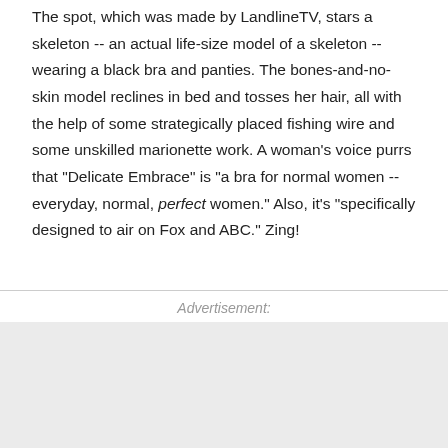The spot, which was made by LandlineTV, stars a skeleton -- an actual life-size model of a skeleton -- wearing a black bra and panties. The bones-and-no-skin model reclines in bed and tosses her hair, all with the help of some strategically placed fishing wire and some unskilled marionette work. A woman's voice purrs that "Delicate Embrace" is "a bra for normal women -- everyday, normal, perfect women." Also, it's "specifically designed to air on Fox and ABC." Zing!
Advertisement: